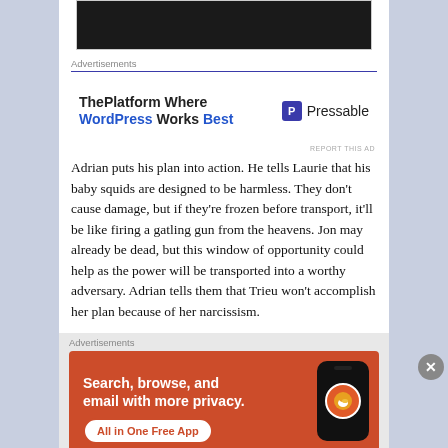[Figure (photo): Top portion of a photo showing people in dark clothing, partially cropped]
Advertisements
[Figure (screenshot): Advertisement for Pressable: 'ThePlatform Where WordPress Works Best' with Pressable logo]
Adrian puts his plan into action. He tells Laurie that his baby squids are designed to be harmless. They don’t cause damage, but if they’re frozen before transport, it’ll be like firing a gatling gun from the heavens. Jon may already be dead, but this window of opportunity could help as the power will be transported into a worthy adversary. Adrian tells them that Trieu won’t accomplish her plan because of her narcissism.
Advertisements
[Figure (screenshot): DuckDuckGo advertisement: 'Search, browse, and email with more privacy. All in One Free App' with phone mockup showing DuckDuckGo logo]